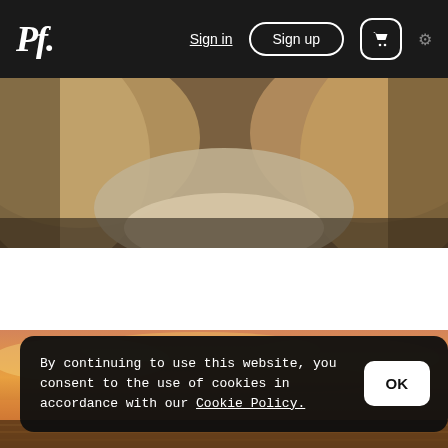Pf. | Sign in | Sign up | Cart | Settings
[Figure (photo): Overhead view of a bed with white and beige linens, the center of the bed visible from above, warm tones]
by Gerald Robinson
$14.28
[Figure (photo): Sunset or sunrise sky with orange and golden clouds, landscape photo]
By continuing to use this website, you consent to the use of cookies in accordance with our Cookie Policy.